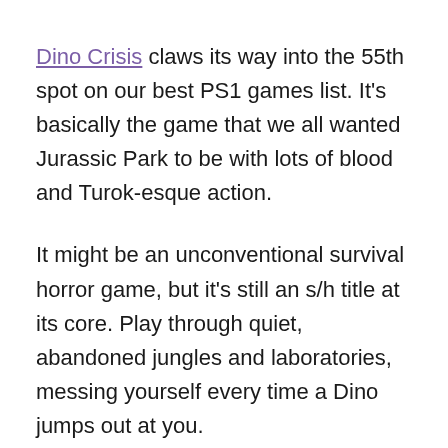Dino Crisis claws its way into the 55th spot on our best PS1 games list. It's basically the game that we all wanted Jurassic Park to be with lots of blood and Turok-esque action.
It might be an unconventional survival horror game, but it's still an s/h title at its core. Play through quiet, abandoned jungles and laboratories, messing yourself every time a Dino jumps out at you.